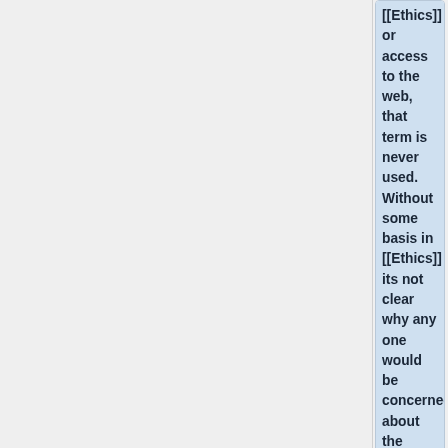[[Ethics]] or access to the web, that term is never used. Without some basis in [[Ethics]] its not clear why any one would be concerned about the "Case for the Web." The irony of the many Facebook breaches noted above with their endorsement on this contract cannot be overlooked.
<blockquote>Facebook and Google have